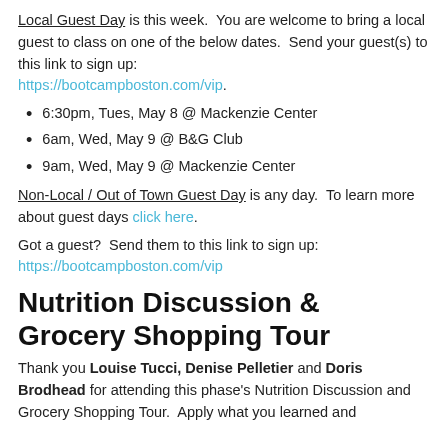Local Guest Day is this week. You are welcome to bring a local guest to class on one of the below dates. Send your guest(s) to this link to sign up: https://bootcampboston.com/vip.
6:30pm, Tues, May 8 @ Mackenzie Center
6am, Wed, May 9 @ B&G Club
9am, Wed, May 9 @ Mackenzie Center
Non-Local / Out of Town Guest Day is any day. To learn more about guest days click here.
Got a guest? Send them to this link to sign up: https://bootcampboston.com/vip
Nutrition Discussion & Grocery Shopping Tour
Thank you Louise Tucci, Denise Pelletier and Doris Brodhead for attending this phase's Nutrition Discussion and Grocery Shopping Tour. Apply what you learned and